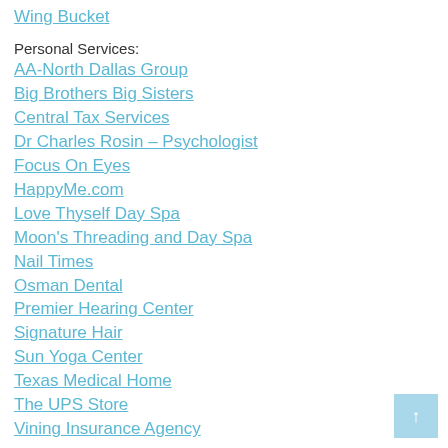Wing Bucket
Personal Services:
AA-North Dallas Group
Big Brothers Big Sisters
Central Tax Services
Dr Charles Rosin – Psychologist
Focus On Eyes
HappyMe.com
Love Thyself Day Spa
Moon's Threading and Day Spa
Nail Times
Osman Dental
Premier Hearing Center
Signature Hair
Sun Yoga Center
Texas Medical Home
The UPS Store
Vining Insurance Agency